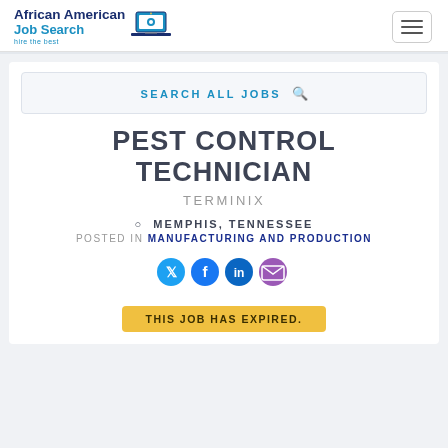African American Job Search — hire the best
SEARCH ALL JOBS
PEST CONTROL TECHNICIAN
TERMINIX
MEMPHIS, TENNESSEE
POSTED IN MANUFACTURING AND PRODUCTION
[Figure (infographic): Social share icons: Twitter, Facebook, LinkedIn, Email]
THIS JOB HAS EXPIRED.